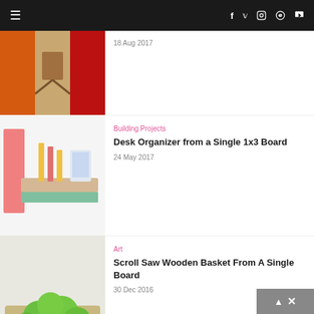Navigation bar with hamburger menu and social icons: f (Facebook), Twitter, Instagram, Pinterest, YouTube
[Figure (photo): Partial article thumbnail showing three panels: orange pumpkin, wooden cart with chocolate, red strawberry]
18 Aug 2017
[Figure (photo): Desk organizer made from a single 1x3 board — pencils, phone holder in pastel colors]
Building Projects
Desk Organizer from a Single 1x3 Board
24 May 2017
[Figure (photo): Basket of green apples in a metallic basket on a white background]
Art
Scroll Saw Wooden Basket From A Single Board
30 Dec 2016